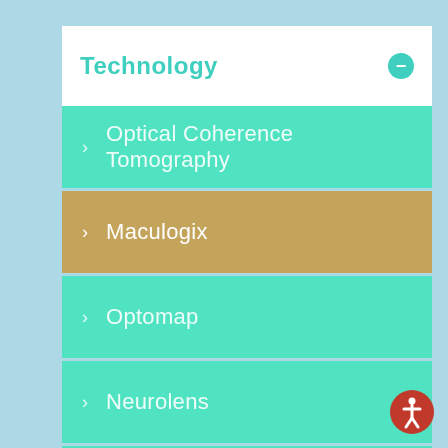Technology
Optical Coherence Tomography
Maculogix
Optomap
Neurolens
Optikam